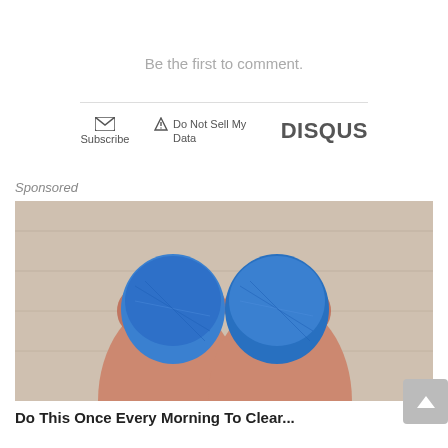Be the first to comment.
Subscribe
Do Not Sell My Data
DISQUS
Sponsored
[Figure (photo): Two human feet viewed from above with blue bandage/wrap material covering the big toes, resting on a light wood floor surface.]
Do This Once Every Morning To Clear...